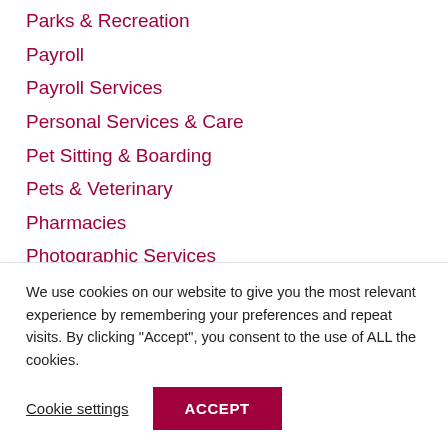Parks & Recreation
Payroll
Payroll Services
Personal Services & Care
Pet Sitting & Boarding
Pets & Veterinary
Pharmacies
Photographic Services
Photography
Physical Therapists
Physical Therapy
Pizza
We use cookies on our website to give you the most relevant experience by remembering your preferences and repeat visits. By clicking "Accept", you consent to the use of ALL the cookies.
Cookie settings
ACCEPT